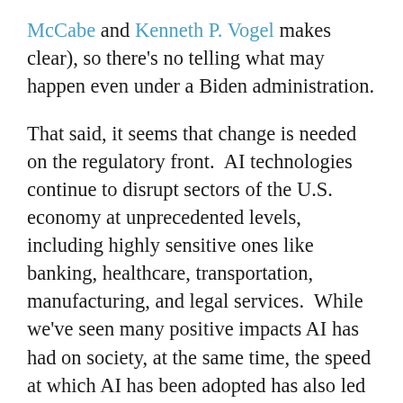McCabe and Kenneth P. Vogel makes clear), so there's no telling what may happen even under a Biden administration.

That said, it seems that change is needed on the regulatory front.  AI technologies continue to disrupt sectors of the U.S. economy at unprecedented levels, including highly sensitive ones like banking, healthcare, transportation, manufacturing, and legal services.  While we've seen many positive impacts AI has had on society, at the same time, the speed at which AI has been adopted has also led to significant problems.  Concerns over the surveillance, collection, and use of